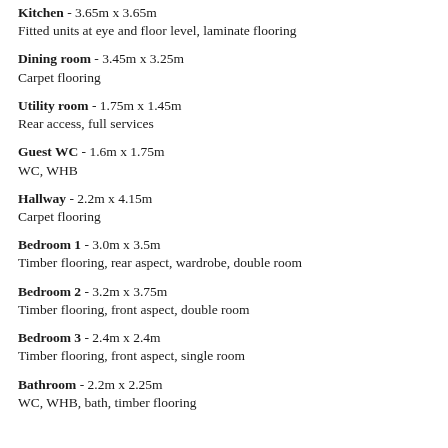Kitchen - 3.65m x 3.65m
Fitted units at eye and floor level, laminate flooring
Dining room - 3.45m x 3.25m
Carpet flooring
Utility room - 1.75m x 1.45m
Rear access, full services
Guest WC - 1.6m x 1.75m
WC, WHB
Hallway - 2.2m x 4.15m
Carpet flooring
Bedroom 1 - 3.0m x 3.5m
Timber flooring, rear aspect, wardrobe, double room
Bedroom 2 - 3.2m x 3.75m
Timber flooring, front aspect, double room
Bedroom 3 - 2.4m x 2.4m
Timber flooring, front aspect, single room
Bathroom - 2.2m x 2.25m
WC, WHB, bath, timber flooring